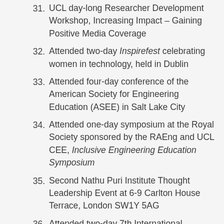31. UCL day-long Researcher Development Workshop, Increasing Impact – Gaining Positive Media Coverage
32. Attended two-day Inspirefest celebrating women in technology, held in Dublin
33. Attended four-day conference of the American Society for Engineering Education (ASEE) in Salt Lake City
34. Attended one-day symposium at the Royal Society sponsored by the RAEng and UCL CEE, Inclusive Engineering Education Symposium
35. Second Nathu Puri Institute Thought Leadership Event at 6-9 Carlton House Terrace, London SW1Y 5AG
36. Attended two-day 7th International Symposium